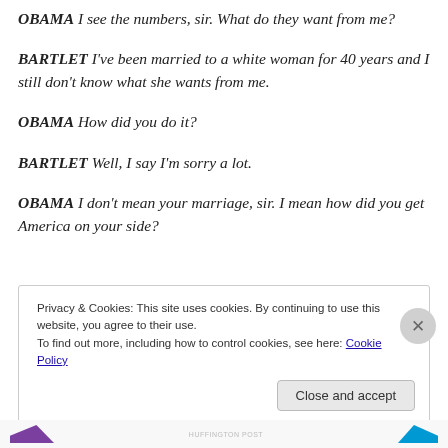OBAMA I see the numbers, sir. What do they want from me?
BARTLET I've been married to a white woman for 40 years and I still don't know what she wants from me.
OBAMA How did you do it?
BARTLET Well, I say I'm sorry a lot.
OBAMA I don't mean your marriage, sir. I mean how did you get America on your side?
Privacy & Cookies: This site uses cookies. By continuing to use this website, you agree to their use. To find out more, including how to control cookies, see here: Cookie Policy
Close and accept
HUFFINGTON POST